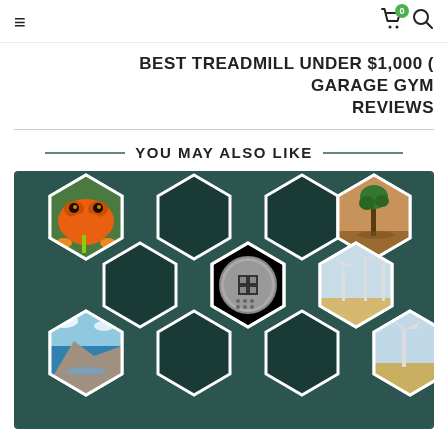☰  [cart icon with badge 0]  [search icon]
BEST TREADMILL UNDER $1,000 ( GARAGE GYM REVIEWS
YOU MAY ALSO LIKE
[Figure (infographic): Hexagonal collage on dark teal background showing: orange tree frog on stem (top-left hex), lone tree on barren land (top-right hex), microchip on black circle (center hex), coastal rocky landscape (bottom-left hex), wind turbines in field (bottom-right hex), and several empty dark hexagons.]